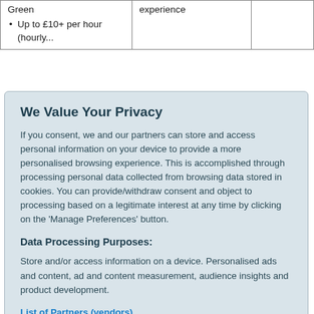|  |  |  |
| --- | --- | --- |
| Green
• Up to £10+ per hour (hourly... | experience |  |
We Value Your Privacy
If you consent, we and our partners can store and access personal information on your device to provide a more personalised browsing experience. This is accomplished through processing personal data collected from browsing data stored in cookies. You can provide/withdraw consent and object to processing based on a legitimate interest at any time by clicking on the 'Manage Preferences' button.
Data Processing Purposes:
Store and/or access information on a device. Personalised ads and content, ad and content measurement, audience insights and product development.
List of Partners (vendors)
Accept
Manage your privacy settings